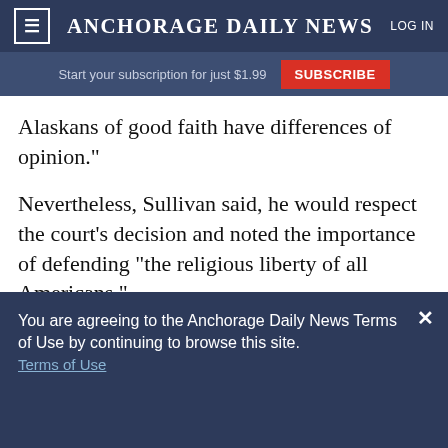≡  ANCHORAGE DAILY NEWS  LOG IN
Start your subscription for just $1.99  SUBSCRIBE
Alaskans of good faith have differences of opinion."
Nevertheless, Sullivan said, he would respect the court's decision and noted the importance of defending "the religious liberty of all Americans."
You are agreeing to the Anchorage Daily News Terms of Use by continuing to browse this site. Terms of Use
I Accept